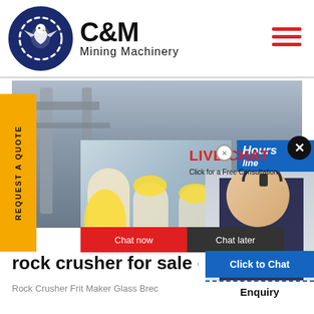[Figure (logo): C&M Mining Machinery logo with eagle in gear circle and company name]
[Figure (screenshot): Website screenshot showing rock crusher product page with live chat popup overlay, yellow REQUEST A QUOTE sidebar, hero industrial background image, and bottom text 'rock crusher for sale eBa...' with 'Rock Crusher Frit Maker Glass Brec...' subtext and 'Click to Chat' and 'Enquiry' buttons]